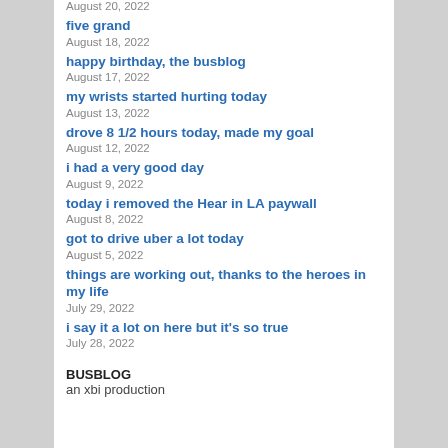five grand
August 18, 2022
happy birthday, the busblog
August 17, 2022
my wrists started hurting today
August 13, 2022
drove 8 1/2 hours today, made my goal
August 12, 2022
i had a very good day
August 9, 2022
today i removed the Hear in LA paywall
August 8, 2022
got to drive uber a lot today
August 5, 2022
things are working out, thanks to the heroes in my life
July 29, 2022
i say it a lot on here but it's so true
July 28, 2022
BUSBLOG
an xbi production